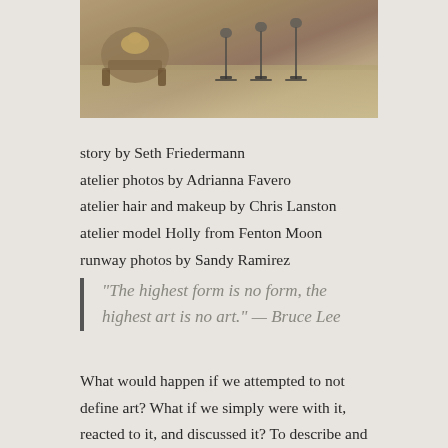[Figure (photo): Interior atelier scene with chairs, bar stools, and a light-colored floor]
story by Seth Friedermann
atelier photos by Adrianna Favero
atelier hair and makeup by Chris Lanston
atelier model Holly from Fenton Moon
runway photos by Sandy Ramirez
“The highest form is no form, the highest art is no art.” — Bruce Lee
What would happen if we attempted to not define art? What if we simply were with it, reacted to it, and discussed it? To describe and to resist the compulsion to define is a rather